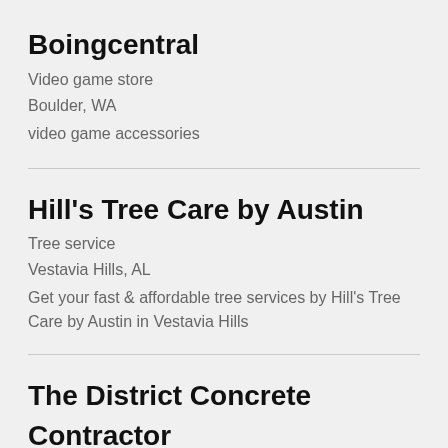Boingcentral
Video game store
Boulder, WA
video game accessories
Hill’s Tree Care by Austin
Tree service
Vestavia Hills, AL
Get your fast & affordable tree services by Hill's Tree Care by Austin in Vestavia Hills
The District Concrete Contractor